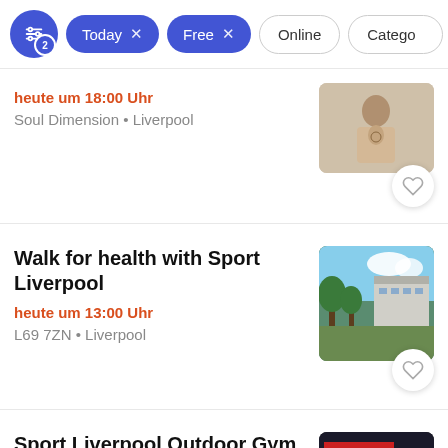[Figure (screenshot): Filter bar with active filter chips: settings icon with badge '2', 'Today x', 'Free x', and inactive chips 'Online', 'Category']
heute um 18:00 Uhr
Soul Dimension • Liverpool
Walk for health with Sport Liverpool
heute um 13:00 Uhr
L69 7ZN • Liverpool
Sport Liverpool Outdoor Gym Open Workout